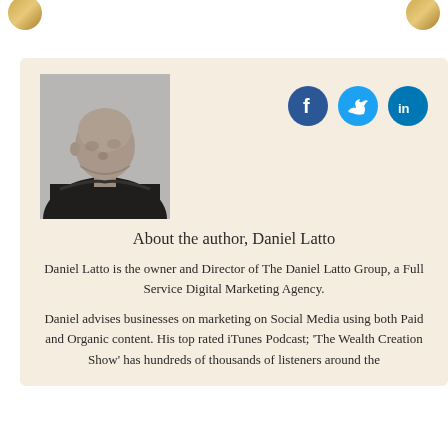[Figure (photo): Black and white photo of Daniel Latto, a bald man wearing a dark jacket, looking upward and to the right]
[Figure (infographic): Three social media icons: Facebook (dark blue circle with 'f'), Twitter (light blue circle with bird icon), LinkedIn (teal circle with 'in')]
About the author, Daniel Latto
Daniel Latto is the owner and Director of The Daniel Latto Group, a Full Service Digital Marketing Agency.
Daniel advises businesses on marketing on Social Media using both Paid and Organic content. His top rated iTunes Podcast; 'The Wealth Creation Show' has hundreds of thousands of listeners around the